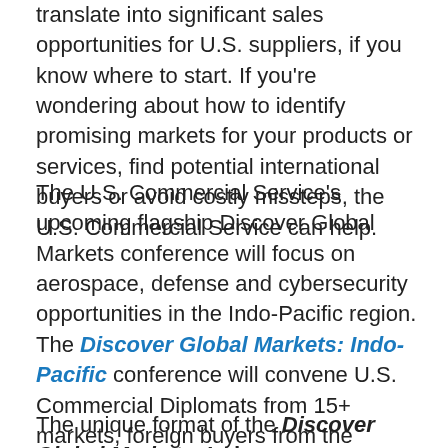translate into significant sales opportunities for U.S. suppliers, if you know where to start. If you're wondering about how to identify promising markets for your products or services, find potential international buyers or avoid costly missteps, the U.S. Commercial Service can help.
The U.S. Commercial Service's upcoming flagship Discover Global Markets conference will focus on aerospace, defense and cybersecurity opportunities in the Indo-Pacific region. The Discover Global Markets: Indo-Pacific conference will convene U.S. Commercial Diplomats from 15+ markets, foreign buyers from the region, U.S. industry leaders, U.S. OEMs and American exporters in Salt Lake City, Utah on December 10 – 12, 2018 to help U.S. firms export to the region.
The unique format of the Discover Global Markets: Indo-